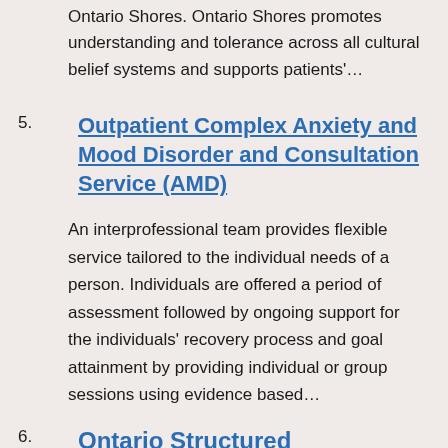Ontario Shores. Ontario Shores promotes understanding and tolerance across all cultural belief systems and supports patients'…
5. Outpatient Complex Anxiety and Mood Disorder and Consultation Service (AMD)
An interprofessional team provides flexible service tailored to the individual needs of a person. Individuals are offered a period of assessment followed by ongoing support for the individuals' recovery process and goal attainment by providing individual or group sessions using evidence based…
6. Ontario Structured Psychotherapy Program